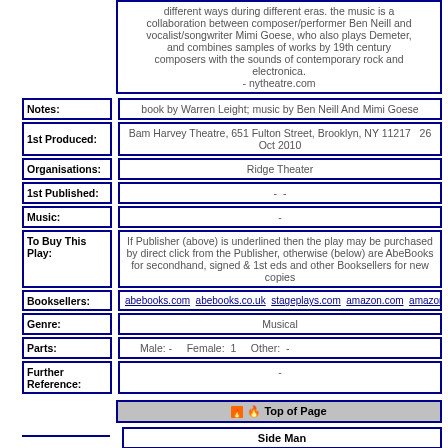different ways during different eras. the music is a collaboration between composer/performer Ben Neill and vocalist/songwriter Mimi Goese, who also plays Demeter, and combines samples of works by 19th century composers with the sounds of contemporary rock and electronica.
- nytheatre.com
| Label | Value |
| --- | --- |
| Notes: | book by Warren Leight; music by Ben Neill And Mimi Goese |
| 1st Produced: | Bam Harvey Theatre, 651 Fulton Street, Brooklyn, NY 11217   26 Oct 2010 |
| Organisations: | Ridge Theater |
| 1st Published: | -  - |
| Music: | - |
| To Buy This Play: | If Publisher (above) is underlined then the play may be purchased by direct click from the Publisher, otherwise (below) are AbeBooks for secondhand, signed & 1st eds and other Booksellers for new copies |
| Booksellers: | abebooks.com  abebooks.co.uk  stageplays.com  amazon.com  amazon.co.uk  am... |
| Genre: | Musical |
| Parts: | Male: -   Female: 1   Other: - |
| Further Reference: | - |
Top of Page
Side Man